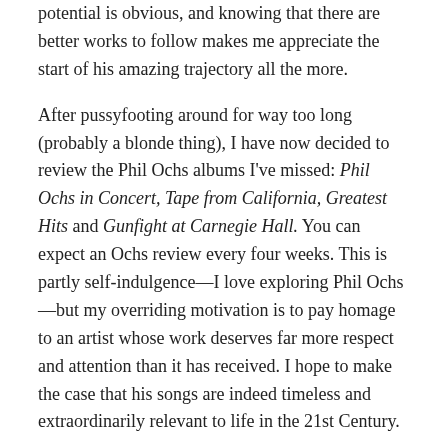potential is obvious, and knowing that there are better works to follow makes me appreciate the start of his amazing trajectory all the more.
After pussyfooting around for way too long (probably a blonde thing), I have now decided to review the Phil Ochs albums I’ve missed: Phil Ochs in Concert, Tape from California, Greatest Hits and Gunfight at Carnegie Hall. You can expect an Ochs review every four weeks. This is partly self-indulgence—I love exploring Phil Ochs—but my overriding motivation is to pay homage to an artist whose work deserves far more respect and attention than it has received. I hope to make the case that his songs are indeed timeless and extraordinarily relevant to life in the 21st Century.
Wish me luck!
Share this: